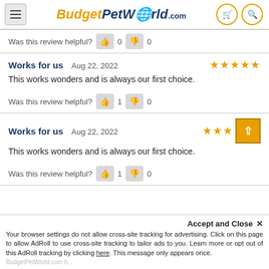BudgetPetWorld.com
Was this review helpful? 0  0
Works for us  Aug 22, 2022  ★★★★★
This works wonders and is always our first choice.
Was this review helpful? 1  0
Works for us  Aug 22, 2022  ★★★
This works wonders and is always our first choice.
Was this review helpful? 1  0
Accept and Close ✕
Your browser settings do not allow cross-site tracking for advertising. Click on this page to allow AdRoll to use cross-site tracking to tailor ads to you. Learn more or opt out of this AdRoll tracking by clicking here. This message only appears once.